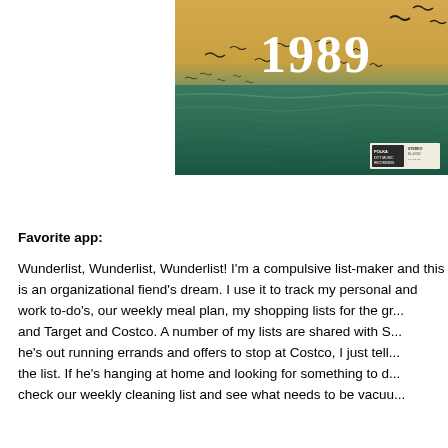[Figure (photo): Album cover for '1989' — a vintage-style photo of seagulls flying over ocean waves with a golden sky, large '1989' text at the top, and a record label badge in the lower right corner.]
Favorite app:
Wunderlist, Wunderlist, Wunderlist!  I'm a compulsive list-maker and this is an organizational fiend's dream.  I use it to track my personal and work to-do's, our weekly meal plan, my shopping lists for the grocery and Target and Costco.  A number of my lists are shared with S so when he's out running errands and offers to stop at Costco, I just tell him to check the list.  If he's hanging at home and looking for something to do, he can check our weekly cleaning list and see what needs to be vacuu...